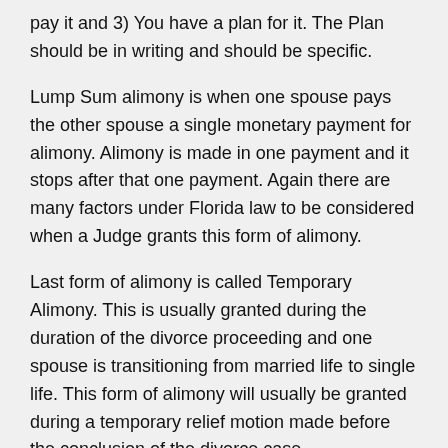pay it and 3) You have a plan for it. The Plan should be in writing and should be specific.
Lump Sum alimony is when one spouse pays the other spouse a single monetary payment for alimony. Alimony is made in one payment and it stops after that one payment. Again there are many factors under Florida law to be considered when a Judge grants this form of alimony.
Last form of alimony is called Temporary Alimony. This is usually granted during the duration of the divorce proceeding and one spouse is transitioning from married life to single life. This form of alimony will usually be granted during a temporary relief motion made before the conclusion of the divorce case.